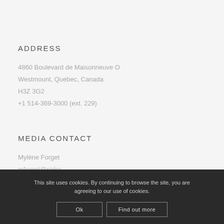ADDRESS
4860 Boulevard de Maisonneuve O
Westmount, Quebec, Canada
H3Z 3G2
+1 514-369-3000 (ext. 229)
MEDIA CONTACT
Mylène Forget
mforget@nider...
This site uses cookies. By continuing to browse the site, you are agreeing to our use of cookies.
Ok   Find out more